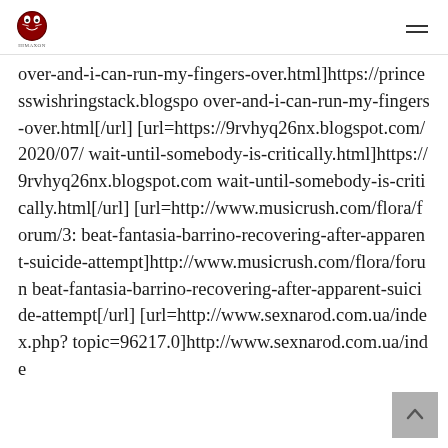over-and-i-can-run-my-fingers-over.html]https://princesswishringstack.blogspo over-and-i-can-run-my-fingers-over.html[/url] [url=https://9rvhyq26nx.blogspot.com/2020/07/ wait-until-somebody-is-critically.html]https://9rvhyq26nx.blogspot.com wait-until-somebody-is-critically.html[/url] [url=http://www.musicrush.com/flora/forum/3: beat-fantasia-barrino-recovering-after-apparent-suicide-attempt]http://www.musicrush.com/flora/forun beat-fantasia-barrino-recovering-after-apparent-suicide-attempt[/url] [url=http://www.sexnarod.com.ua/index.php? topic=96217.0]http://www.sexnarod.com.ua/inde